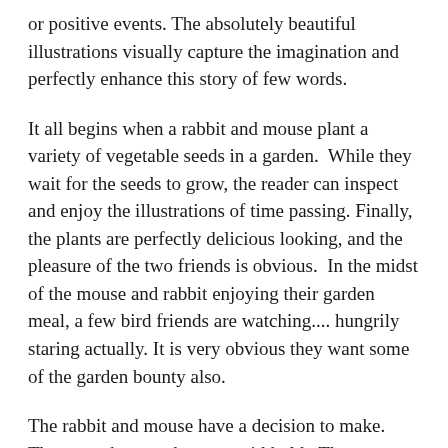or positive events. The absolutely beautiful illustrations visually capture the imagination and perfectly enhance this story of few words.
It all begins when a rabbit and mouse plant a variety of vegetable seeds in a garden.  While they wait for the seeds to grow, the reader can inspect and enjoy the illustrations of time passing. Finally, the plants are perfectly delicious looking, and the pleasure of the two friends is obvious.  In the midst of the mouse and rabbit enjoying their garden meal, a few bird friends are watching.... hungrily staring actually. It is very obvious they want some of the garden bounty also.
The rabbit and mouse have a decision to make.  They can share or they can withhold.  The ever so small temptation to withhold is allowed to grow and becomes so large it affects all the animals in the garden in a sad, troublesome way.  No one is untouched by the disturbance.  The mouse and rabbit reconsider their first reaction and decide to kindly share their